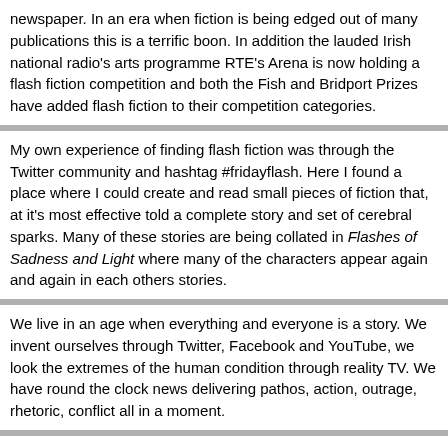newspaper. In an era when fiction is being edged out of many publications this is a terrific boon. In addition the lauded Irish national radio's arts programme RTE's Arena is now holding a flash fiction competition and both the Fish and Bridport Prizes have added flash fiction to their competition categories.
My own experience of finding flash fiction was through the Twitter community and hashtag #fridayflash. Here I found a place where I could create and read small pieces of fiction that, at it's most effective told a complete story and set of cerebral sparks. Many of these stories are being collated in Flashes of Sadness and Light where many of the characters appear again and again in each others stories.
We live in an age when everything and everyone is a story. We invent ourselves through Twitter, Facebook and YouTube, we look the extremes of the human condition through reality TV. We have round the clock news delivering pathos, action, outrage, rhetoric, conflict all in a moment.
Flash fiction is quick, it hits hard like the headlines. Flash has to find the hook fast, it needs to speak to us to reflect or expand our experience or it loses the reader. The beauty of flash and the crux of why it is important is that while it is short, quick, intense, accessible, bite-sized for the Smartphone it is made of words and can give us the best of what fiction can give.
And what can fiction give us? - Reflection, resonance, depth, pause, perspective. Through the eyes of authors, through their choices we can experience news ways of looking at the world, new understanding or just